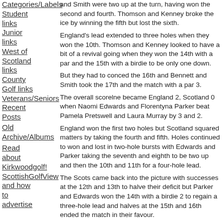Categories/Labels
Student links
Junior links
West of Scotland links
County Golf links
Veterans/Seniors
Recent Posts
Old Archive/Albums
Read about Kirkwoodgolf!
ScottishGolfView
and how to advertise
and Smith were two up at the turn, having won the second and fourth. Thomson and Kenney broke the ice by winning the fifth but lost the sixth.
England's lead extended to three holes when they won the 10th. Thomson and Kenney looked to have a bit of a revival going when they won the 14th with a par and the 15th with a birdie to be only one down.
But they had to conced the 16th and Bennett and Smith took the 17th and the match with a par 3.
The overall scorelne became England 2, Scotland 0 when Naomi Edwards and Florentyna Parker beat Pamela Pretswell and Laura Murray by 3 and 2.
England won the first two holes but Scotland squared matters by taking the fourth and fifth. Holes continued to won and lost in two-hole bursts with Edwards and Parker taking the seventh and eighth to be two up and then the 10th and 11th for a four-hole lead.
The Scots came back into the picture with successes at the 12th and 13th to halve their deficit but Parker and Edwards won the 14th with a birdie 2 to regain a three-hole lead and halves at the 15th and 16th ended the match in their favour.
Kylie Walker and Kelsey MacDonald averted a second successive foursomes whitewash defeat for Scotland by winning the last foursome 3 and 2 against Hannah Barwood and Rachel Jennings.